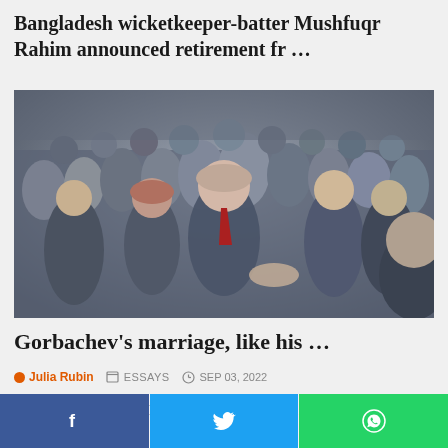Bangladesh wicketkeeper-batter Mushfuqr Rahim announced retirement fr ...
[Figure (photo): Mikhail Gorbachev surrounded by a crowd of men in suits, shaking hands and looking upward, black and white / muted color photograph]
Gorbachev's marriage, like his ...
O Julia Rubin  ESSAYS  SEP 03, 2022
When Mikhail Gorbachev is buried Saturday at